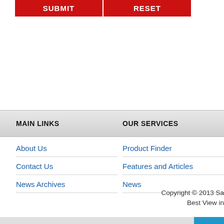[Figure (screenshot): Two red buttons labeled SUBMIT and RESET at the top of the page, part of a web form UI]
MAIN LINKS   OUR SERVICES
About Us
Contact Us
News Archives
Product Finder
Features and Articles
News
Copyright © 2013 Sa
Best View in